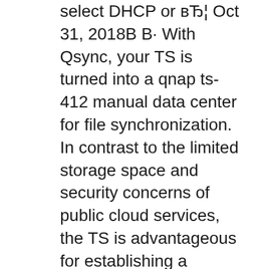select DHCP or вЂ¦ Oct 31, 2018В В· With Qsync, your TS is turned into a qnap ts-412 manual data center for file synchronization. In contrast to the limited storage space and security concerns of public cloud services, the TS is advantageous for establishing a secure and large-capacity private cloud.
Ask a question about the QNAP TS-251+ Have a question about the QNAP TS-251+ but cannot find the answer in the user manual? Perhaps the users of ManualsCat.com can help you answer your question. By filling in the form below, your question will appear below the manual of the QNAP TS-251+. Ask a question about the QNAP TS-269L. Have